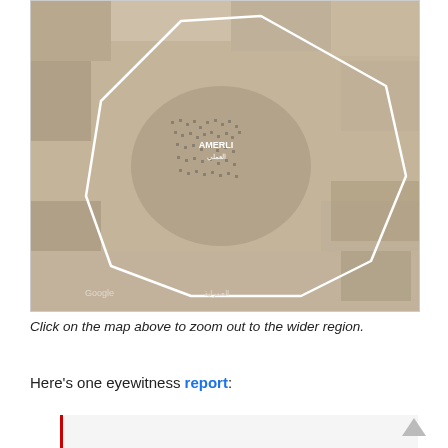[Figure (map): Satellite/aerial map image of Amerli region (Iraq), sepia-toned Google Maps satellite view showing the town of Amerli outlined with a white polygon boundary. Labels visible: 'AMERLI' and Arabic text, 'Google' watermark at bottom left, and additional Arabic text at bottom center.]
Click on the map above to zoom out to the wider region.
Here's one eyewitness report: